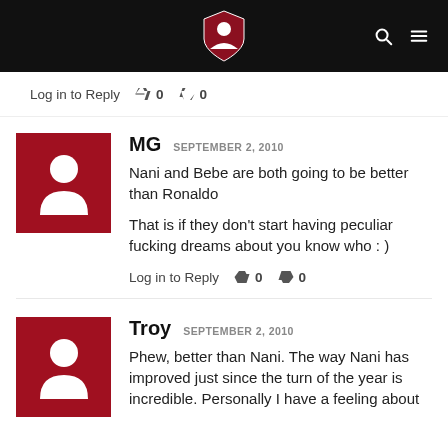Site header with logo and navigation icons
Log in to Reply   0   0
MG   SEPTEMBER 2, 2010
Nani and Bebe are both going to be better than Ronaldo

That is if they don't start having peculiar fucking dreams about you know who : )
Log in to Reply   0   0
Troy   SEPTEMBER 2, 2010
Phew, better than Nani. The way Nani has improved just since the turn of the year is incredible. Personally I have a feeling about